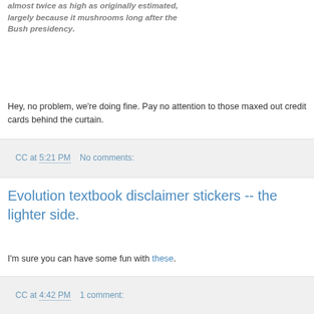almost twice as high as originally estimated, largely because it mushrooms long after the Bush presidency.
Hey, no problem, we're doing fine. Pay no attention to those maxed out credit cards behind the curtain.
CC at 5:21 PM    No comments:
Evolution textbook disclaimer stickers -- the lighter side.
I'm sure you can have some fun with these.
CC at 4:42 PM    1 comment: